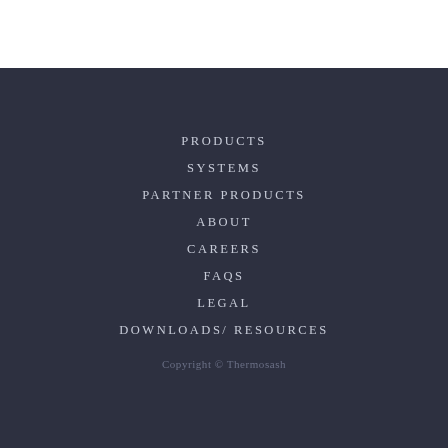PRODUCTS
SYSTEMS
PARTNER PRODUCTS
ABOUT
CAREERS
FAQS
LEGAL
DOWNLOADS/ RESOURCES
Copyright © Thermosash